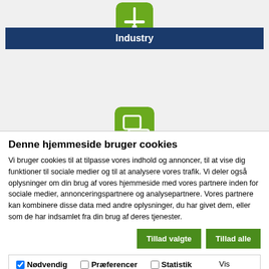[Figure (illustration): Green rounded square icon with white industry/tool symbol above dark blue bar labeled Industry]
[Figure (illustration): Green rounded square icon with white audio/media symbol above dark blue bar labeled Audio]
[Figure (illustration): Green rounded square icon with white water drop symbol above partially visible dark blue bar]
Denne hjemmeside bruger cookies
Vi bruger cookies til at tilpasse vores indhold og annoncer, til at vise dig funktioner til sociale medier og til at analysere vores trafik. Vi deler også oplysninger om din brug af vores hjemmeside med vores partnere inden for sociale medier, annonceringspartnere og analysepartnere. Vores partnere kan kombinere disse data med andre oplysninger, du har givet dem, eller som de har indsamlet fra din brug af deres tjenester.
Tillad valgte | Tillad alle
Nødvendig | Præferencer | Statistik | Marketing | Vis detaljer